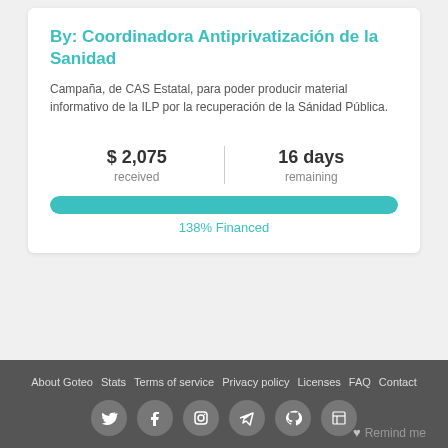By: Coordinadora Antiprivatización de la Sanidad
Campaña, de CAS Estatal, para poder producir material informativo de la ILP por la recuperación de la Sánidad Pública.
$ 2,075 received
16 days remaining
[Figure (other): Teal progress bar showing 138% financed]
138% Financed
About Goteo · Stats · Terms of service · Privacy policy · Licenses · FAQ · Contact
Remind me